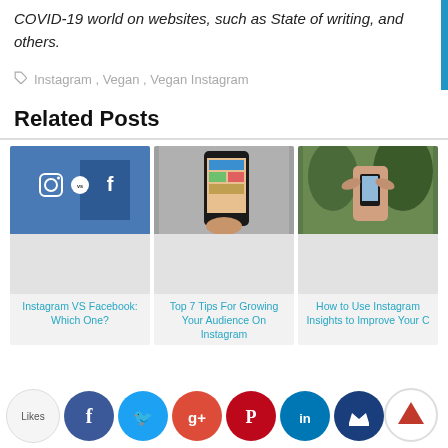COVID-19 world on websites, such as State of writing, and others.
Instagram, Vegan, Vegan Instagram
Related Posts
[Figure (photo): Instagram vs Facebook graphic with icons on blue background]
[Figure (photo): Hand holding a smartphone showing Instagram feed]
[Figure (photo): Person taking a selfie outdoors]
Instagram VS Facebook: Which One?
Top 7 Tips For Growing Your Audience On Instagram
How to Use Instagram Insights to Improve Your Content and